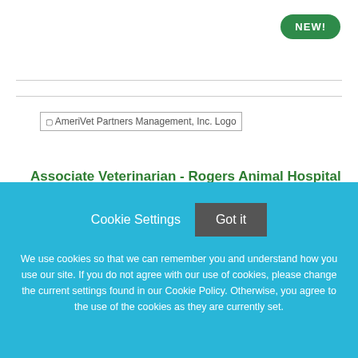[Figure (logo): AmeriVet Partners Management, Inc. Logo placeholder image]
Associate Veterinarian - Rogers Animal Hospital
AmeriVet Partners Management, Inc.
Corsicana, Texas
Cookie Settings  Got it
We use cookies so that we can remember you and understand how you use our site. If you do not agree with our use of cookies, please change the current settings found in our Cookie Policy. Otherwise, you agree to the use of the cookies as they are currently set.